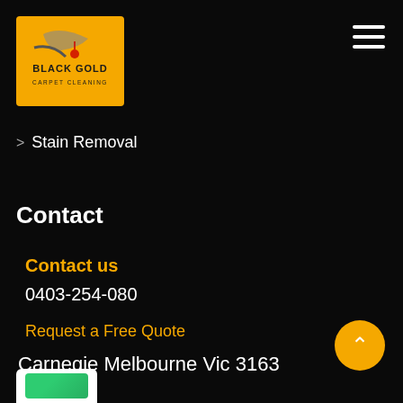[Figure (logo): Black Gold Carpet Cleaning logo: yellow/gold background with stylized carpet cleaning imagery and text 'BLACK GOLD CARPET CLEANING']
[Figure (other): Hamburger menu icon (three horizontal white lines) in top right corner]
> Stain Removal
Contact
Contact us
0403-254-080
Request a Free Quote
Carnegie Melbourne Vic 3163
[Figure (other): Back to top button: circular gold/yellow button with upward chevron arrow]
[Figure (other): Partial white badge/button visible at bottom left]